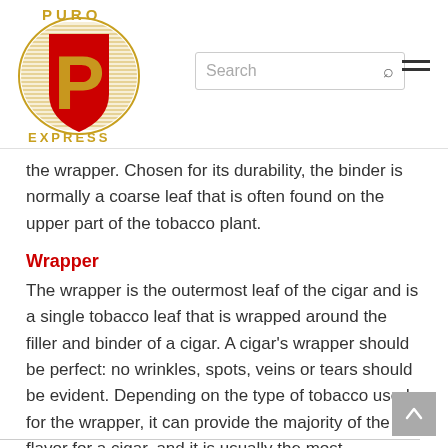[Figure (logo): Puro Express logo: circular gold design with red shield and 'P' letter, 'PURO' text above and 'EXPRESS' text below in gold letters]
the wrapper. Chosen for its durability, the binder is normally a coarse leaf that is often found on the upper part of the tobacco plant.
Wrapper
The wrapper is the outermost leaf of the cigar and is a single tobacco leaf that is wrapped around the filler and binder of a cigar. A cigar's wrapper should be perfect: no wrinkles, spots, veins or tears should be evident. Depending on the type of tobacco used for the wrapper, it can provide the majority of the flavor for a cigar, and it is usually the most expensive component of the cigar.